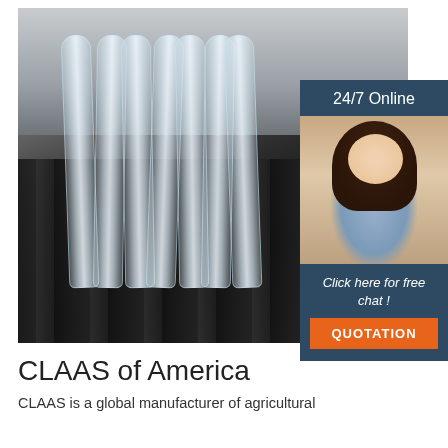[Figure (photo): Factory interior showing a row of black agricultural seeder/planter components with transparent plastic curtain strips hanging behind them in an industrial warehouse setting.]
[Figure (infographic): Advertisement panel with dark blue background showing '24/7 Online' header, a customer service woman with a headset smiling, text 'Click here for free chat!' and an orange button labeled 'QUOTATION'.]
CLAAS of America
CLAAS is a global manufacturer of agricultural